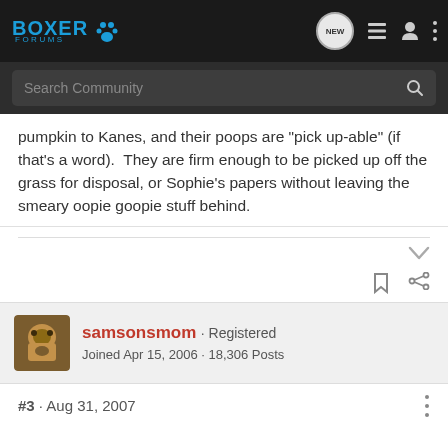Boxer Forums
pumpkin to Kanes, and their poops are "pick up-able" (if that's a word).  They are firm enough to be picked up off the grass for disposal, or Sophie's papers without leaving the smeary oopie goopie stuff behind.
samsonsmom · Registered
Joined Apr 15, 2006 · 18,306 Posts
#3 · Aug 31, 2007